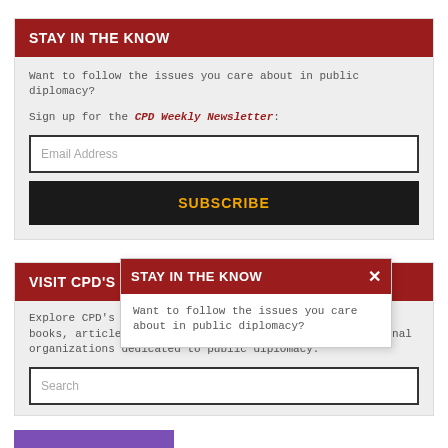STAY IN THE KNOW
Want to follow the issues you care about in public diplomacy?
Sign up for the CPD Weekly Newsletter:
Email Address
SUBSCRIBE
VISIT CPD'S ONLINE LIBRARY
Explore CPD's vast online database featuring the latest books, articles, speeches and information on international organizations dedicated to public diplomacy.
Search
STAY IN THE KNOW
Want to follow the issues you care about in public diplomacy?